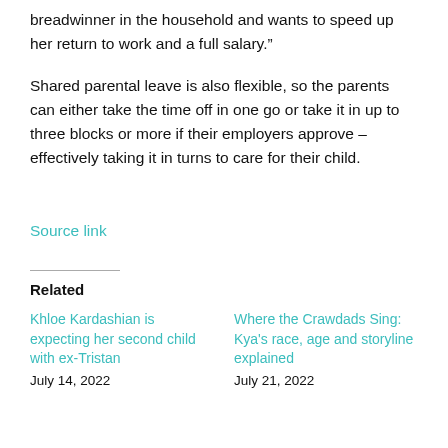breadwinner in the household and wants to speed up her return to work and a full salary."
Shared parental leave is also flexible, so the parents can either take the time off in one go or take it in up to three blocks or more if their employers approve – effectively taking it in turns to care for their child.
Source link
Related
Khloe Kardashian is expecting her second child with ex-Tristan
July 14, 2022
Where the Crawdads Sing: Kya's race, age and storyline explained
July 21, 2022